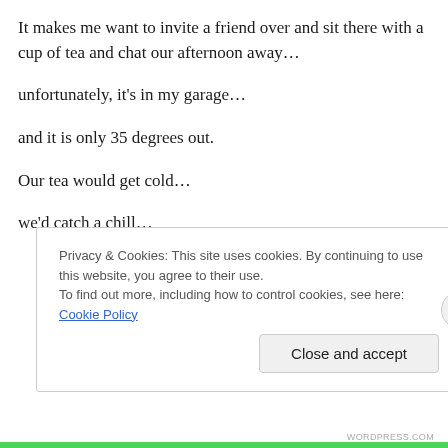It makes me want to invite a friend over and sit there with a cup of tea and chat our afternoon away…
unfortunately, it's in my garage…
and it is only 35 degrees out.
Our tea would get cold…
we'd catch a chill…
Privacy & Cookies: This site uses cookies. By continuing to use this website, you agree to their use.
To find out more, including how to control cookies, see here: Cookie Policy
Close and accept